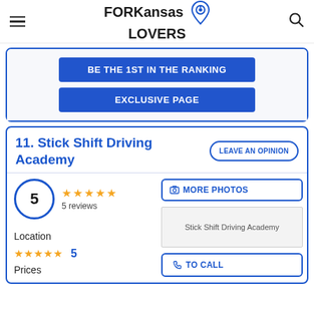FORKansas LOVERS
BE THE 1ST IN THE RANKING
EXCLUSIVE PAGE
11. Stick Shift Driving Academy
LEAVE AN OPINION
5 — 5 reviews
MORE PHOTOS
[Figure (photo): Stick Shift Driving Academy photo placeholder]
Location — 5 stars — 5
Prices
TO CALL